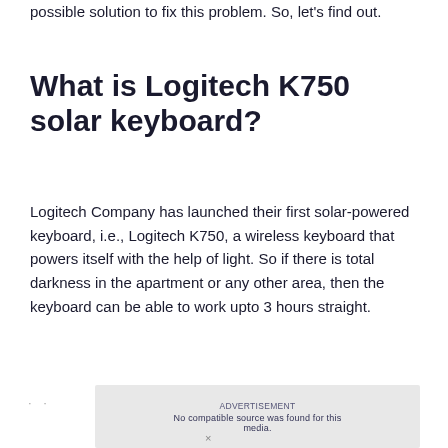possible solution to fix this problem. So, let's find out.
What is Logitech K750 solar keyboard?
Logitech Company has launched their first solar-powered keyboard, i.e., Logitech K750, a wireless keyboard that powers itself with the help of light. So if there is total darkness in the apartment or any other area, then the keyboard can be able to work upto 3 hours straight.
[Figure (other): Advertisement or loading placeholder box with text 'ADVERTISEMENT' and 'No compatible source was found for this' and 'media.' displayed on a light gray background]